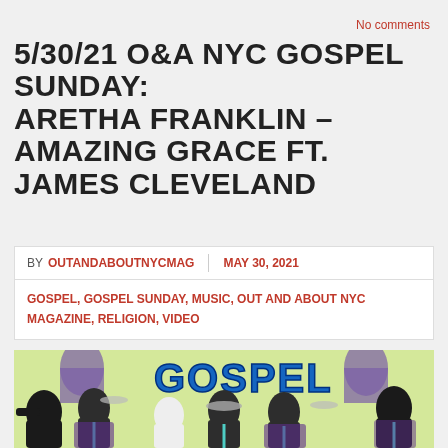No comments
5/30/21 O&A NYC GOSPEL SUNDAY: ARETHA FRANKLIN – AMAZING GRACE FT. JAMES CLEVELAND
BY OUTANDABOUTNYCMAG | MAY 30, 2021
GOSPEL, GOSPEL SUNDAY, MUSIC, OUT AND ABOUT NYC MAGAZINE, RELIGION, VIDEO
[Figure (illustration): Colorful illustration of gospel choir musicians playing instruments and singing, with the word GOSPEL in blue graffiti-style text at top center, figures in purple and black robes with teal accents against a yellow-green background]